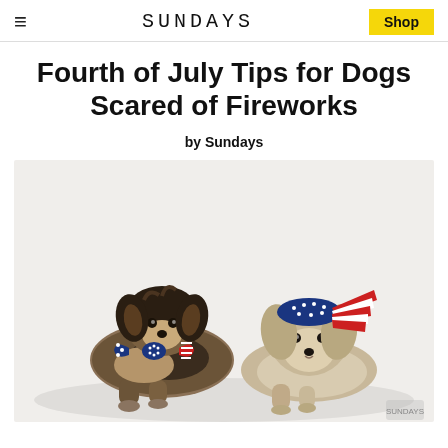≡   SUNDAYS   Shop
Fourth of July Tips for Dogs Scared of Fireworks
by Sundays
[Figure (photo): Two small dogs lying on a white background. The left dog (Yorkshire Terrier mix) wears a patriotic American flag bow tie (red, white and blue stars and stripes). The right dog (Morkie/terrier mix) wears a patriotic American flag bow/bandana headpiece on its head with red and white stripes fanning out. Both dogs look at the camera.]